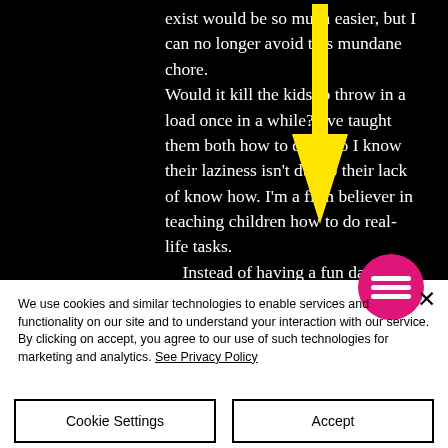exist would be so much easier, but I can no longer avoid this mundane chore. Would it kill the kids to throw in a load once in a while? I've taught them both how to do it, so I know their laziness isn't due to their lack of know how. I'm a firm believer in teaching children how to do real-life tasks.
	Instead of having a fun day with me, they're shut away in their rooms. To be honest, I'd rather that than have them follow
[Figure (other): Yellow downward-pointing arrow annotation overlay on the text]
[Figure (other): Pink circular menu button with three horizontal white lines (hamburger icon)]
We use cookies and similar technologies to enable services and functionality on our site and to understand your interaction with our service. By clicking on accept, you agree to our use of such technologies for marketing and analytics. See Privacy Policy